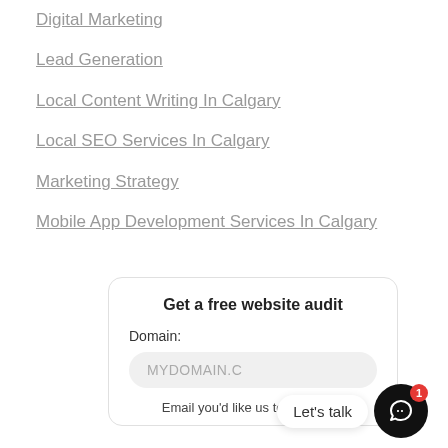Digital Marketing
Lead Generation
Local Content Writing In Calgary
Local SEO Services In Calgary
Marketing Strategy
Mobile App Development Services In Calgary
Get a free website audit
Domain:
MYDOMAIN.C
Email you'd like us to send your
Let's talk